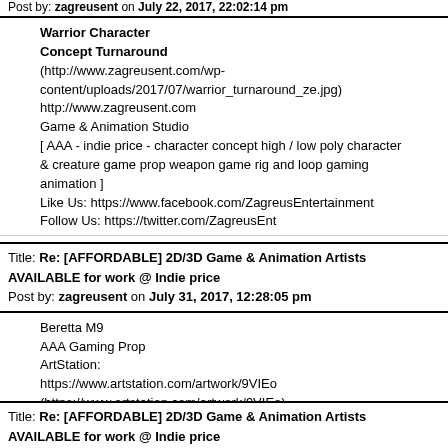Post by: zagreusent on July 22, 2017, 22:02:14 pm
Warrior Character Concept Turnaround (http://www.zagreusent.com/wp-content/uploads/2017/07/warrior_turnaround_ze.jpg) http://www.zagreusent.com Game & Animation Studio [ AAA - indie price - character concept high / low poly character & creature game prop weapon game rig and loop gaming animation ] Like Us: https://www.facebook.com/ZagreusEntertainment Follow Us: https://twitter.com/ZagreusEnt
Title: Re: [AFFORDABLE] 2D/3D Game & Animation Artists AVAILABLE for work @ Indie price
Post by: zagreusent on July 31, 2017, 12:28:05 pm
Beretta M9 AAA Gaming Prop ArtStation: https://www.artstation.com/artwork/9VIEo (https://www.artstation.com/artwork/9VIEo) (http://www.zagreusent.com/wp-content/uploads/2017/07/beretta_m9_ze.jpg)
Title: Re: [AFFORDABLE] 2D/3D Game & Animation Artists AVAILABLE for work @ Indie price